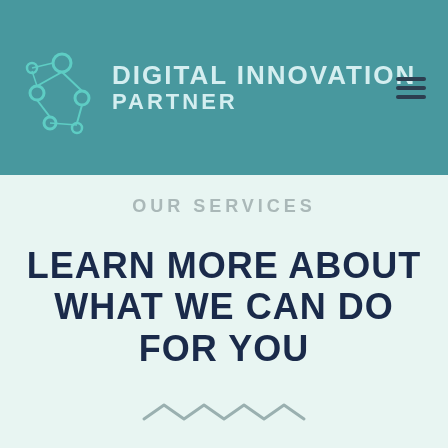DIGITAL INNOVATION PARTNER
OUR SERVICES
LEARN MORE ABOUT WHAT WE CAN DO FOR YOU
[Figure (illustration): Decorative zigzag wave divider in gray]